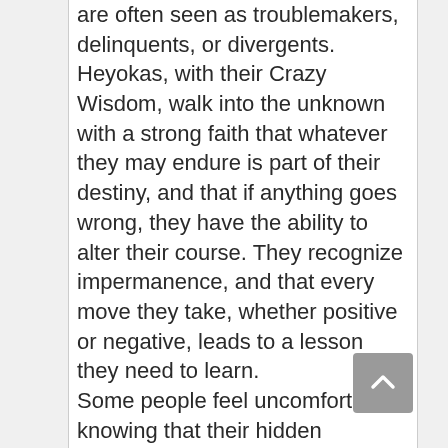are often seen as troublemakers, delinquents, or divergents. Heyokas, with their Crazy Wisdom, walk into the unknown with a strong faith that whatever they may endure is part of their destiny, and that if anything goes wrong, they have the ability to alter their course. They recognize impermanence, and that every move they take, whether positive or negative, leads to a lesson they need to learn. Some people feel uncomfortable knowing that their hidden negative traits or tendencies become unveiled while in a Heyoka's company. Often they are subconsciously attempting to guard their true character, and so, they don't understand why the Heyoka's presence causes them to feel so uneasy. Heyokas are unpredictable and unconventional, and they do not adhere